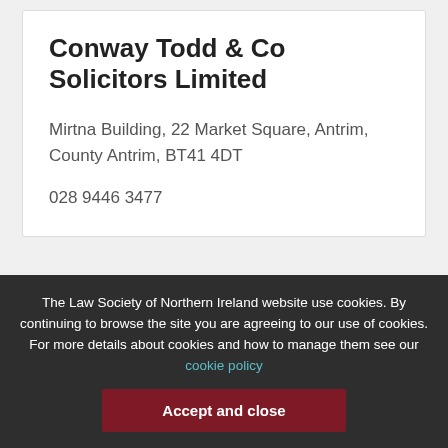Conway Todd & Co Solicitors Limited
Mirtna Building, 22 Market Square, Antrim, County Antrim, BT41 4DT
028 9446 3477
The Law Society of Northern Ireland website use cookies. By continuing to browse the site you are agreeing to our use of cookies. For more details about cookies and how to manage them see our cookie policy
Accept and close